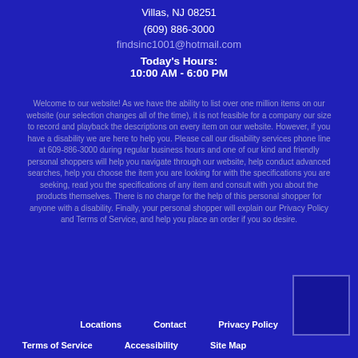Villas, NJ 08251
(609) 886-3000
findsinc1001@hotmail.com
Today's Hours:
10:00 AM - 6:00 PM
Welcome to our website! As we have the ability to list over one million items on our website (our selection changes all of the time), it is not feasible for a company our size to record and playback the descriptions on every item on our website. However, if you have a disability we are here to help you. Please call our disability services phone line at 609-886-3000 during regular business hours and one of our kind and friendly personal shoppers will help you navigate through our website, help conduct advanced searches, help you choose the item you are looking for with the specifications you are seeking, read you the specifications of any item and consult with you about the products themselves. There is no charge for the help of this personal shopper for anyone with a disability. Finally, your personal shopper will explain our Privacy Policy and Terms of Service, and help you place an order if you so desire.
Locations   Contact   Privacy Policy
Terms of Service   Accessibility   Site Map